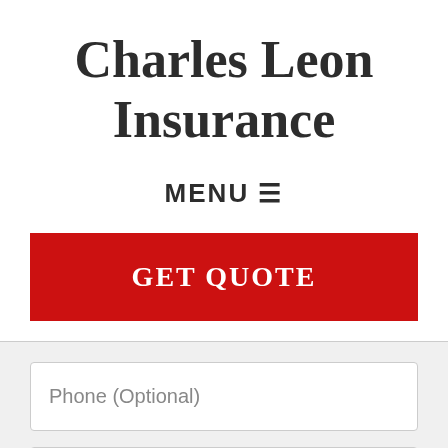Charles Leon Insurance
MENU ☰
GET QUOTE
Phone (Optional)